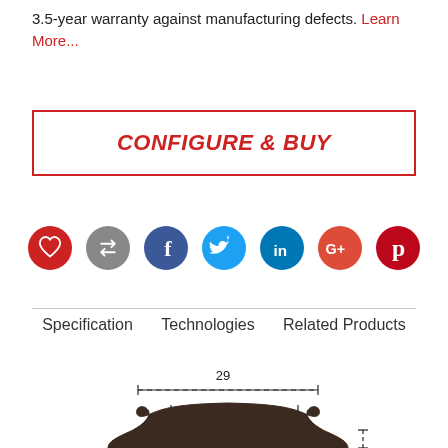3.5-year warranty against manufacturing defects. Learn More...
CONFIGURE & BUY
[Figure (infographic): Row of 7 social/action icon circles: heart (red), compare arrows (gray), Facebook (blue), Twitter (light blue), LinkedIn (blue), Google+ (red), Pinterest (red)]
Specification    Technologies    Related Products
[Figure (engineering-diagram): Cross-section engineering diagram of a bicycle rim showing outer width 29mm and inner width 22mm with dimension lines, and a height indicator on the right side. The rim profile shows curved flanges with a W-shaped channel cross-section in dark brown/black.]